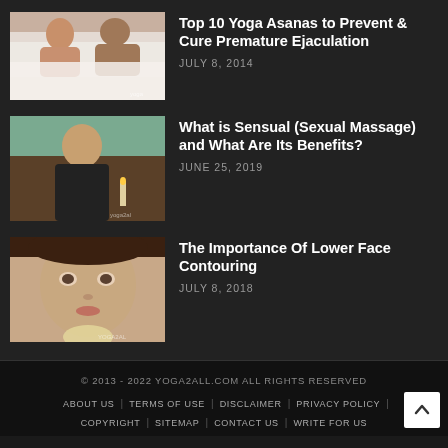[Figure (photo): Two people in bed, back to back, with white sheets]
Top 10 Yoga Asanas to Prevent & Cure Premature Ejaculation
JULY 8, 2014
[Figure (photo): Woman in black top leaning over a surface with candles]
What is Sensual (Sexual Massage) and What Are Its Benefits?
JUNE 25, 2019
[Figure (photo): Close-up of young woman's face]
The Importance Of Lower Face Contouring
JULY 8, 2018
© 2013 - 2022 YOGA2ALL.COM ALL RIGHTS RESERVED | ABOUT US | TERMS OF USE | DISCLAIMER | PRIVACY POLICY | COPYRIGHT | SITEMAP | CONTACT US | WRITE FOR US